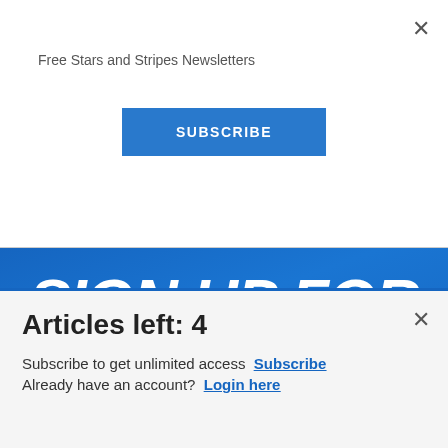×
Free Stars and Stripes Newsletters
SUBSCRIBE
[Figure (screenshot): Blue banner with bold white italic text reading SIGN UP FOR DAILY HEADLINES, overlaid with an advertisement for Commissary Click2Go showing a green circular logo and a Commissary badge, and a chevron/arrow on the right]
×
Articles left: 4
Subscribe to get unlimited access  Subscribe
Already have an account?  Login here